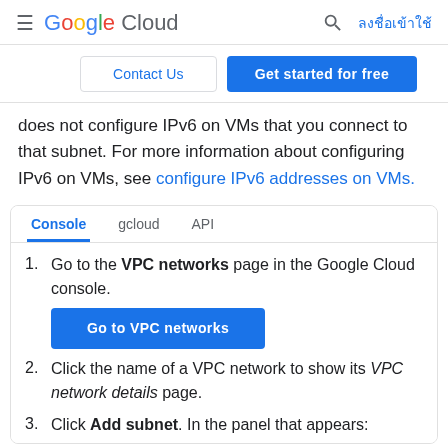Google Cloud — ลงชื่อเข้าใช้
does not configure IPv6 on VMs that you connect to that subnet. For more information about configuring IPv6 on VMs, see configure IPv6 addresses on VMs.
1. Go to the VPC networks page in the Google Cloud console. [Go to VPC networks button]
2. Click the name of a VPC network to show its VPC network details page.
3. Click Add subnet. In the panel that appears: